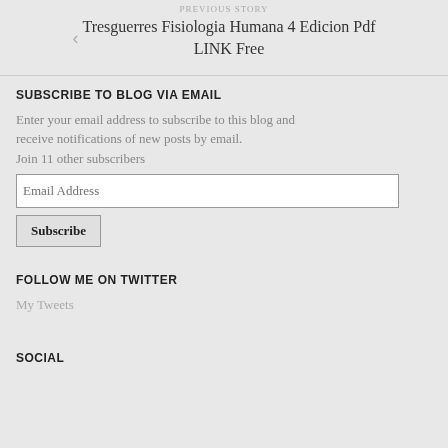PREVIOUS STORY
Tresguerres Fisiologia Humana 4 Edicion Pdf LINK Free
SUBSCRIBE TO BLOG VIA EMAIL
Enter your email address to subscribe to this blog and receive notifications of new posts by email. Join 11 other subscribers
FOLLOW ME ON TWITTER
My Tweets
SOCIAL